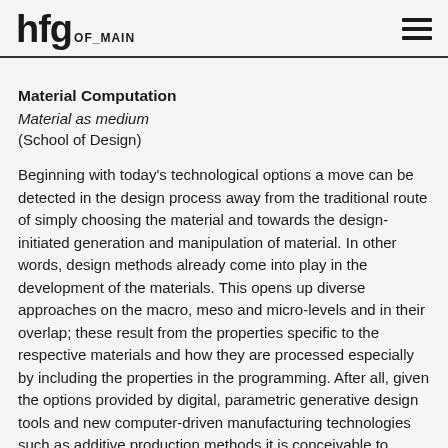hfg OF_MAIN
Material Computation
Material as medium
(School of Design)
Beginning with today's technological options a move can be detected in the design process away from the traditional route of simply choosing the material and towards the design-initiated generation and manipulation of material. In other words, design methods already come into play in the development of the materials. This opens up diverse approaches on the macro, meso and micro-levels and in their overlap; these result from the properties specific to the respective materials and how they are processed especially by including the properties in the programming. After all, given the options provided by digital, parametric generative design tools and new computer-driven manufacturing technologies such as additive production methods it is conceivable to consider programmable, physical dynamic material (see 4D-printing, Voxel). The divide between materials and the digital is becoming